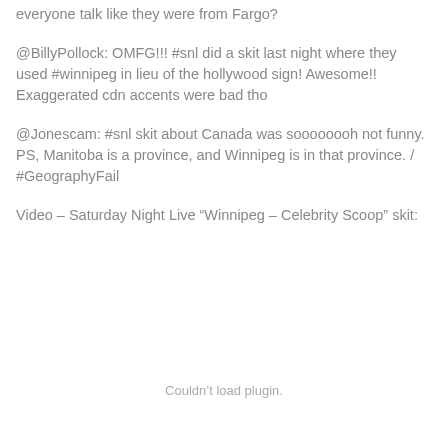everyone talk like they were from Fargo?
@BillyPollock: OMFG!!! #snl did a skit last night where they used #winnipeg in lieu of the hollywood sign! Awesome!! Exaggerated cdn accents were bad tho
@Jonescam: #snl skit about Canada was soooooooh not funny. PS, Manitoba is a province, and Winnipeg is in that province. / #GeographyFail
Video – Saturday Night Live “Winnipeg – Celebrity Scoop” skit:
[Figure (other): Video embed area with 'Couldn't load plugin.' message]